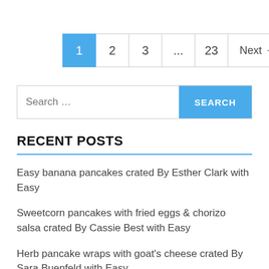[Figure (other): Pagination control showing pages: 1 (active/blue), 2, 3, ..., 23, Next →]
[Figure (other): Search bar with placeholder text 'Search ...' and a blue SEARCH button]
RECENT POSTS
Easy banana pancakes crated By Esther Clark with Easy
Sweetcorn pancakes with fried eggs & chorizo salsa crated By Cassie Best with Easy
Herb pancake wraps with goat's cheese crated By Sara Buenfeld with Easy
Smoked wild Irish salmon with chive pancakes crated By Carol Foo...times with Easy